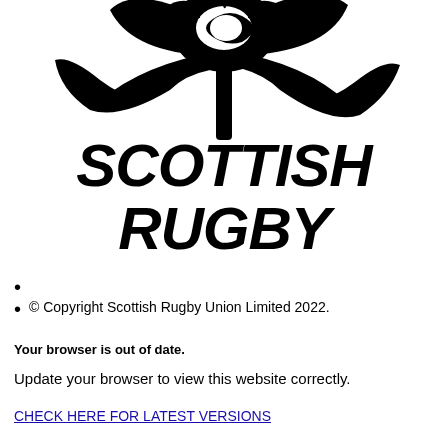[Figure (logo): Scottish Rugby thistle logo — large black stylized thistle emblem at top of page]
SCOTTISH RUGBY
© Copyright Scottish Rugby Union Limited 2022.
Your browser is out of date.
Update your browser to view this website correctly.
CHECK HERE FOR LATEST VERSIONS